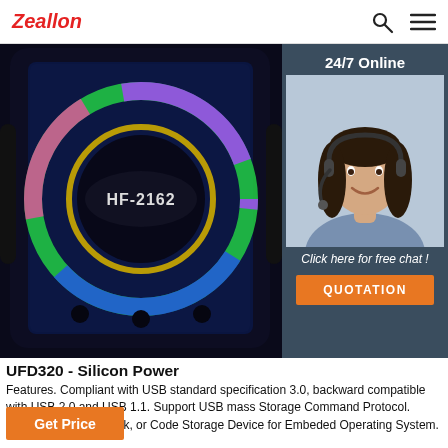Zeallon
[Figure (photo): A blue Bluetooth speaker labeled HF-2162 with colorful RGB LED ring light and black grille mesh, shot close-up against dark background. Beside it is a customer service widget showing a woman with a headset headphone, labeled '24/7 Online' with 'Click here for free chat!' and an orange QUOTATION button.]
UFD320 - Silicon Power
Features. Compliant with USB standard specification 3.0, backward compatible with USB 2.0 and USB 1.1. Support USB mass Storage Command Protocol. Operating as Boot Disk, or Code Storage Device for Embeded Operating System.
Get Price